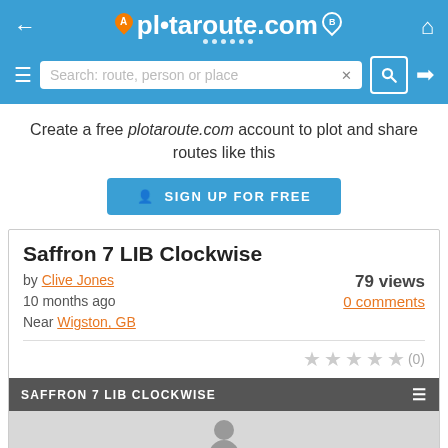plotaroute.com — navigation header with search bar
Create a free plotaroute.com account to plot and share routes like this
SIGN UP FOR FREE
Saffron 7 LIB Clockwise
by Clive Jones
79 views
10 months ago
0 comments
Near Wigston, GB
[Figure (screenshot): Map preview panel titled SAFFRON 7 LIB CLOCKWISE showing a grey map area with a silhouette figure visible at the bottom]